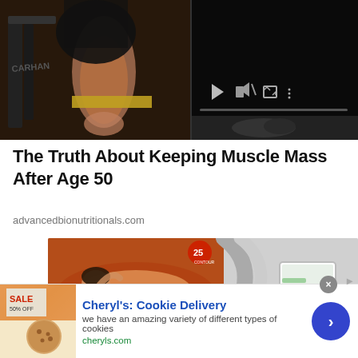[Figure (photo): Gym workout video thumbnail showing person exercising on weight machine, with video player controls on dark right panel]
The Truth About Keeping Muscle Mass After Age 50
advancedbionutritionals.com
[Figure (photo): Woman relaxing in what appears to be a body contouring/wellness machine, with medical device visible on right side]
Cheryl's: Cookie Delivery
we have an amazing variety of different types of cookies
cheryls.com